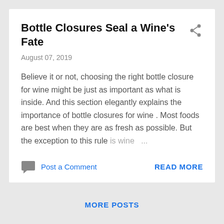Bottle Closures Seal a Wine's Fate
August 07, 2019
Believe it or not, choosing the right bottle closure for wine might be just as important as what is inside. And this section elegantly explains the importance of bottle closures for wine . Most foods are best when they are as fresh as possible. But the exception to this rule is wine ...
Post a Comment
READ MORE
MORE POSTS